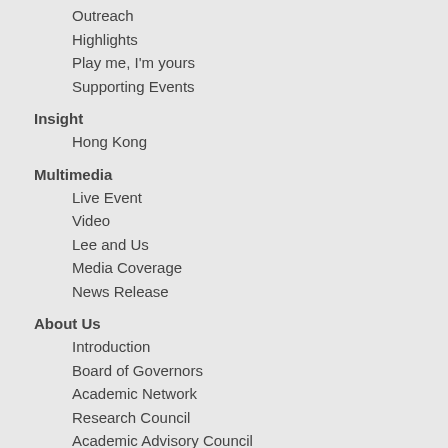Outreach
Highlights
Play me, I'm yours
Supporting Events
Insight
Hong Kong
Multimedia
Live Event
Video
Lee and Us
Media Coverage
News Release
About Us
Introduction
Board of Governors
Academic Network
Research Council
Academic Advisory Council
Special Counsellors